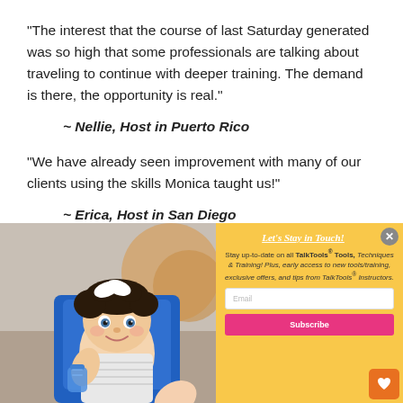"The interest that the course of last Saturday generated was so high that some professionals are talking about traveling to continue with deeper training. The demand is there, the opportunity is real."
~ Nellie, Host in Puerto Rico
"We have already seen improvement with many of our clients using the skills Monica taught us!"
~ Erica, Host in San Diego
[Figure (photo): A smiling baby/toddler with a white bow in curly hair, sitting in a blue high chair, holding a sippy cup. Warm indoor setting.]
Let's Stay in Touch!
Stay up-to-date on all TalkTools® Tools, Techniques & Training! Plus, early access to new tools/training, exclusive offers, and tips from TalkTools® Instructors.